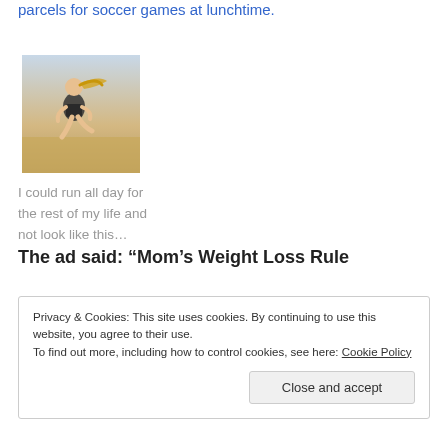parcels for soccer games at lunchtime.
[Figure (photo): A blonde woman running outdoors in athletic wear (sports bra), with a field/landscape in the background.]
I could run all day for the rest of my life and not look like this…
The ad said: “Mom’s Weight Loss Rule
Privacy & Cookies: This site uses cookies. By continuing to use this website, you agree to their use.
To find out more, including how to control cookies, see here: Cookie Policy
Close and accept